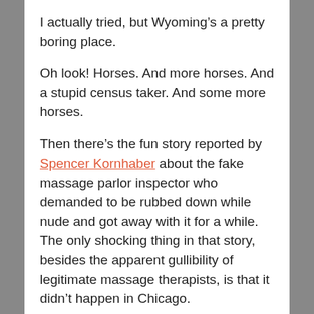I actually tried, but Wyoming's a pretty boring place.
Oh look! Horses. And more horses. And a stupid census taker. And some more horses.
Then there's the fun story reported by Spencer Kornhaber about the fake massage parlor inspector who demanded to be rubbed down while nude and got away with it for a while. The only shocking thing in that story, besides the apparent gullibility of legitimate massage therapists, is that it didn't happen in Chicago.
Steven Hoffer has a deeply meaningful story about a guy who uses a toilet as a flower pot.
Sure, it's in Tennessee, but that just makes it more